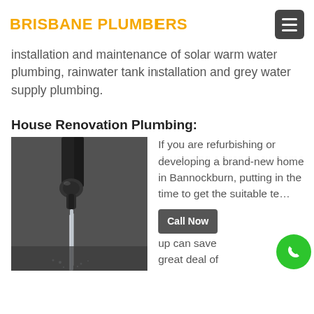BRISBANE PLUMBERS
installation and maintenance of solar warm water plumbing, rainwater tank installation and grey water supply plumbing.
House Renovation Plumbing:
[Figure (photo): Close-up black and white photo of a faucet with water flowing out]
If you are refurbishing or developing a brand-new home in Bannockburn, putting in the time to get the suitable te... up can save great deal of